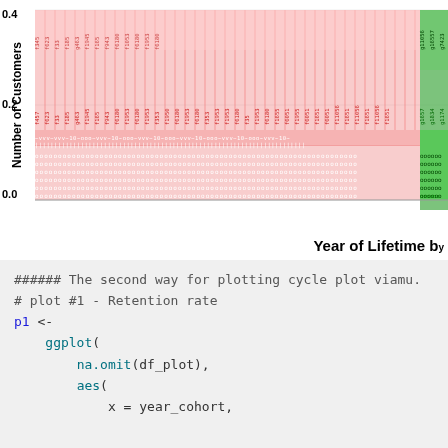[Figure (stacked-bar-chart): Stacked bar chart showing proportion of customers over years of lifetime. Bars are colored pink/red and green. Y-axis shows values 0.0, 0.2, 0.4. Many bars with text labels inside. Partially cropped on right side.]
###### The second way for plotting cycle plot via mu.
# plot #1 - Retention rate
p1 <-
    ggplot(
        na.omit(df_plot),
        aes(
            x = year_cohort,